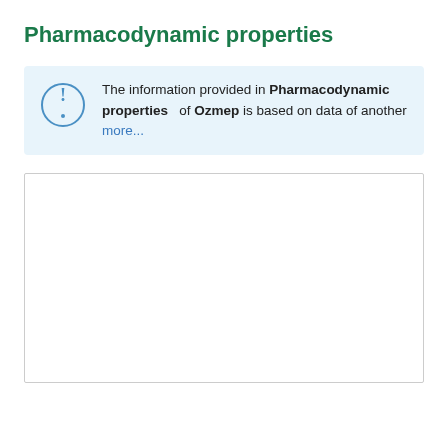Pharmacodynamic properties
The information provided in Pharmacodynamic properties of Ozmep is based on data of another more...
[Figure (other): Empty white content box with border, likely a placeholder for pharmacodynamic content]